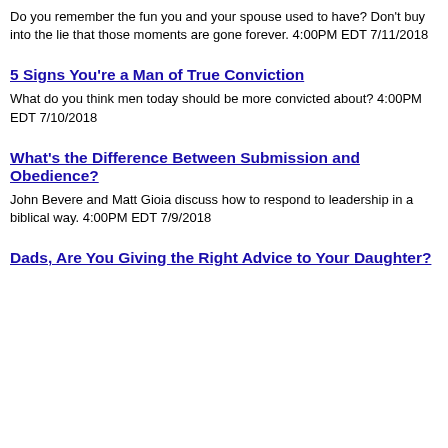Do you remember the fun you and your spouse used to have? Don't buy into the lie that those moments are gone forever. 4:00PM EDT 7/11/2018
5 Signs You're a Man of True Conviction
What do you think men today should be more convicted about? 4:00PM EDT 7/10/2018
What's the Difference Between Submission and Obedience?
John Bevere and Matt Gioia discuss how to respond to leadership in a biblical way. 4:00PM EDT 7/9/2018
Dads, Are You Giving the Right Advice to Your Daughter?